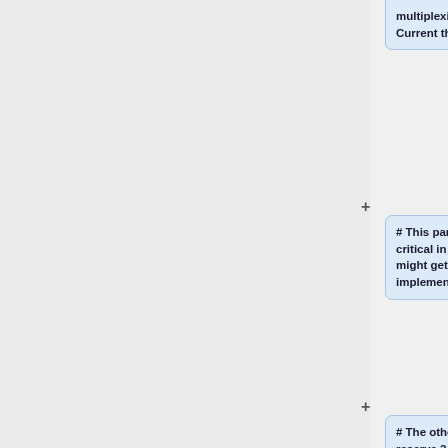multiplexing the I/O pins. Current thoughts:
# This part is perhaps not as critical in terms of timing, so I might get away with implementing this in memory
# The other alternative is to reserve 2 bits of the register for peripheral selection (up to 4)
# It's also possible to